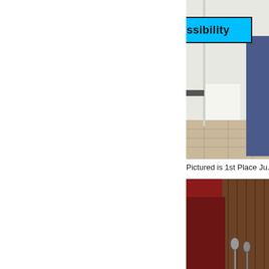[Figure (photo): Partial photo of a person standing near a white wall/door, with tile floor visible. A cyan/light-blue highlighted label box with the text 'Accessibility' is overlaid on the upper portion of the image.]
Pictured is 1st Place Ju...
[Figure (photo): Partial photo of a person in front of a dark red/burgundy backdrop with a wooden wall behind, with microphones visible in foreground.]